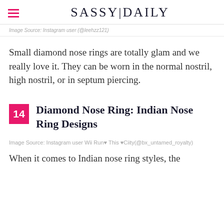SASSY|DAILY
Image Source: Instagram user (@leehzz121)
Small diamond nose rings are totally glam and we really love it. They can be worn in the normal nostril, high nostril, or in septum piercing.
14  Diamond Nose Ring: Indian Nose Ring Designs
Image Source: Instagram user Wii Run♥ This ♥Ciity(@bx_untamed_royalty)
When it comes to Indian nose ring styles, the